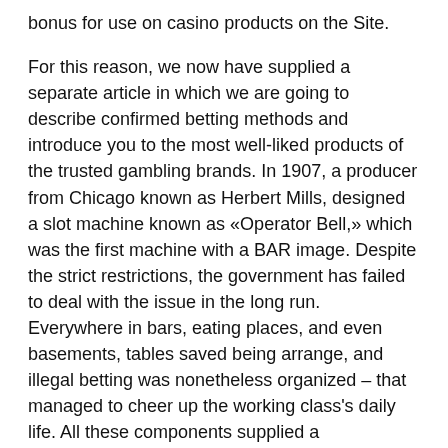bonus for use on casino products on the Site.
For this reason, we now have supplied a separate article in which we are going to describe confirmed betting methods and introduce you to the most well-liked products of the trusted gambling brands. In 1907, a producer from Chicago known as Herbert Mills, designed a slot machine known as «Operator Bell,» which was the first machine with a BAR image. Despite the strict restrictions, the government has failed to deal with the issue in the long run. Everywhere in bars, eating places, and even basements, tables saved being arrange, and illegal betting was nonetheless organized – that managed to cheer up the working class's daily life. All these components supplied a precondition for the development of unlawful casinos and the institution of felony organized teams to administer them.
The company additionally provides virtual sports activities, sports, and financial bets, as properly as lottery video games. Keno also plays a notable position in net casinos;